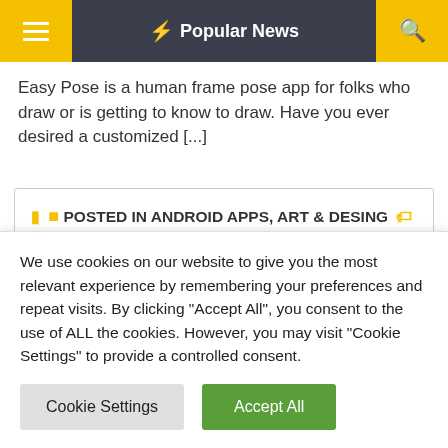⚡ Popular News
Easy Pose is a human frame pose app for folks who draw or is getting to know to draw. Have you ever desired a customized [...]
POSTED IN ANDROID APPS, ART & DESING  TAGGED EASY POSE APK DOWNLOAD FOR PC,EASY POSE FOR PC,EASY POSE FOR WINDOWS
We use cookies on our website to give you the most relevant experience by remembering your preferences and repeat visits. By clicking "Accept All", you consent to the use of ALL the cookies. However, you may visit "Cookie Settings" to provide a controlled consent.